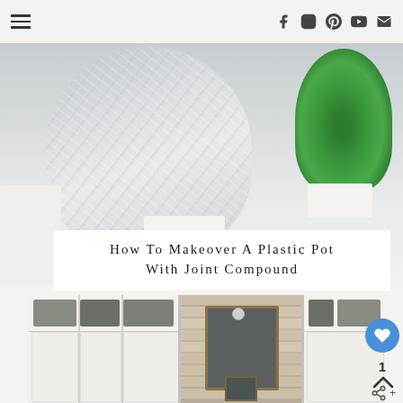Navigation header with hamburger menu and social icons (Facebook, Instagram, Pinterest, YouTube, Email)
[Figure (photo): A plastic pot with textured joint compound finish in white/grey tones, with green plant on right side, white square pot base visible]
How To Makeover A Plastic Pot With Joint Compound
[Figure (photo): A mudroom with white built-in lockers/cubbies, grey storage bins on top shelves, wooden plank accent wall in center, chalkboard sign, ceiling light]